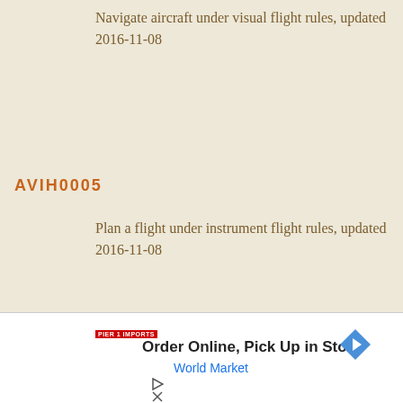Navigate aircraft under visual flight rules, updated 2016-11-08
AVIH0005
Plan a flight under instrument flight rules, updated 2016-11-08
AVIH3019
Navigate remote pilot aircraft systems, updated 2016-11-08
[Figure (other): Advertisement banner: Order Online, Pick Up in Store - World Market with navigation arrow icon, play button and close button controls]